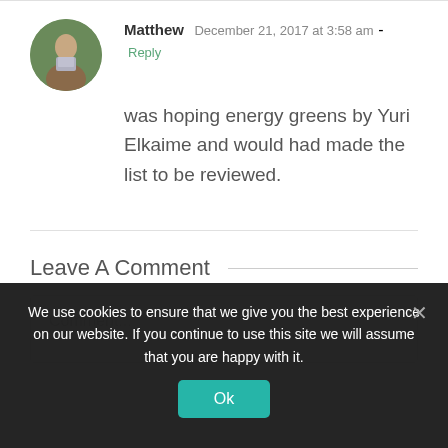Matthew  December 21, 2017 at 3:58 am - Reply
was hoping energy greens by Yuri Elkaime and would had made the list to be reviewed.
Leave A Comment
Comment...
We use cookies to ensure that we give you the best experience on our website. If you continue to use this site we will assume that you are happy with it.